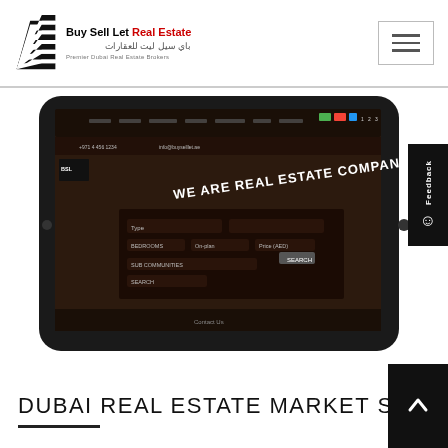[Figure (logo): Buy Sell Let Real Estate logo with geometric black/white striped triangle icon and company name in English and Arabic]
[Figure (screenshot): Tablet device showing the Buy Sell Let Real Estate website with dark brown background, displaying 'WE ARE REAL ESTATE COMPANY' heading and property search form fields]
DUBAI REAL ESTATE MARKET STATISTICS